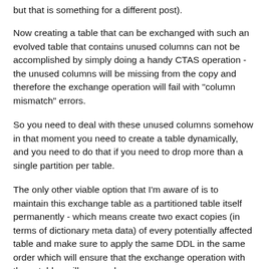but that is something for a different post).
Now creating a table that can be exchanged with such an evolved table that contains unused columns can not be accomplished by simply doing a handy CTAS operation - the unused columns will be missing from the copy and therefore the exchange operation will fail with "column mismatch" errors.
So you need to deal with these unused columns somehow in that moment you need to create a table dynamically, and you need to do that if you need to drop more than a single partition per table.
The only other viable option that I'm aware of is to maintain this exchange table as a partitioned table itself permanently - which means create two exact copies (in terms of dictionary meta data) of every potentially affected table and make sure to apply the same DDL in the same order which will ensure that the exchange operation with those tables will succeed.
It will need two copies, one unpartitioned and one